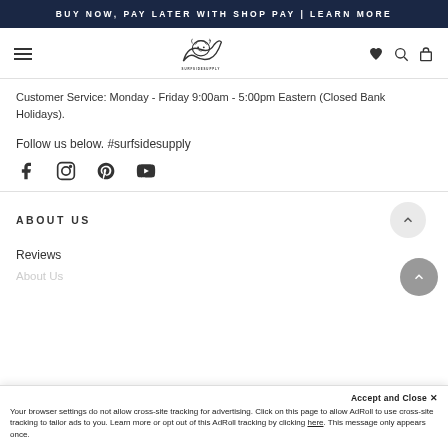BUY NOW, PAY LATER WITH SHOP PAY | LEARN MORE
[Figure (logo): Surfside Supply logo with wave/lion illustration and SURFSIDESUPPLY text]
Customer Service: Monday - Friday 9:00am - 5:00pm Eastern (Closed Bank Holidays).
Follow us below. #surfsidesupply
[Figure (illustration): Social media icons: Facebook, Instagram, Pinterest, YouTube]
ABOUT US
Reviews
About Us
Accept and Close ✕
Your browser settings do not allow cross-site tracking for advertising. Click on this page to allow AdRoll to use cross-site tracking to tailor ads to you. Learn more or opt out of this AdRoll tracking by clicking here. This message only appears once.